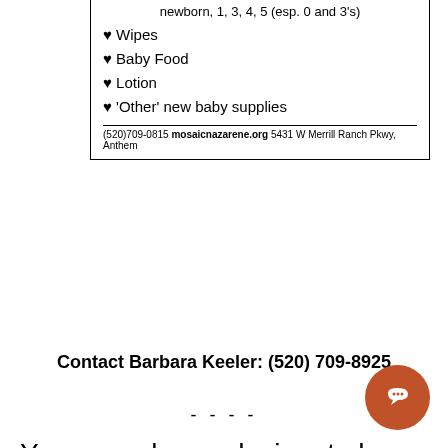[Figure (other): Partial flyer box with list of baby supply items and contact footer]
Contact Barbara Keeler: (520) 709-8925
- - - -
You may always designate how you would like your offerings to be used for Mosaic Ministries besides our general fund. Here are some ministries in which you may want your offering go: